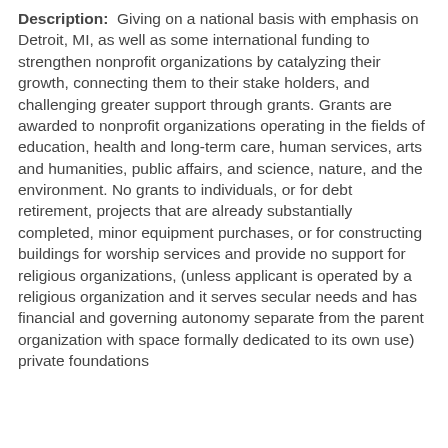Description: Giving on a national basis with emphasis on Detroit, MI, as well as some international funding to strengthen nonprofit organizations by catalyzing their growth, connecting them to their stake holders, and challenging greater support through grants. Grants are awarded to nonprofit organizations operating in the fields of education, health and long-term care, human services, arts and humanities, public affairs, and science, nature, and the environment. No grants to individuals, or for debt retirement, projects that are already substantially completed, minor equipment purchases, or for constructing buildings for worship services and provide no support for religious organizations, (unless applicant is operated by a religious organization and it serves secular needs and has financial and governing autonomy separate from the parent organization with space formally dedicated to its own use) private foundations